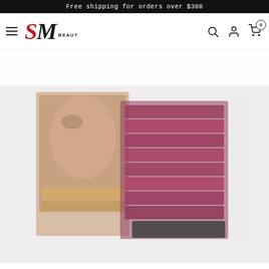Free shipping for orders over $300
[Figure (logo): SM Beauty logo with red S, black M and BEAUTY text]
[Figure (photo): Blurred product photo showing makeup/beauty products including lip products and palettes arranged together]